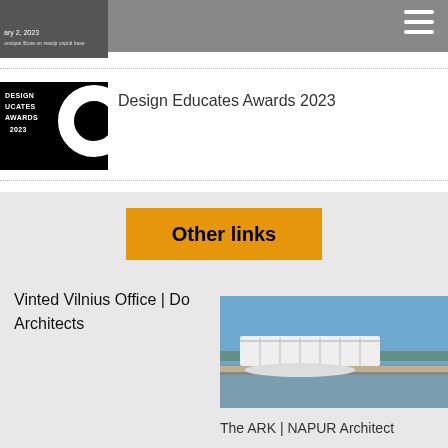[Figure (photo): Thumbnail image with date text 'ary 2, 2023' on dark background]
Design Educates Awards 2023
[Figure (logo): Design Educates Awards 2023 black logo with circular graphic]
Other links
Vinted Vilnius Office | Do Architects
[Figure (photo): Architectural photo of The ARK building on water, clear blue sky]
The ARK | NAPUR Architect